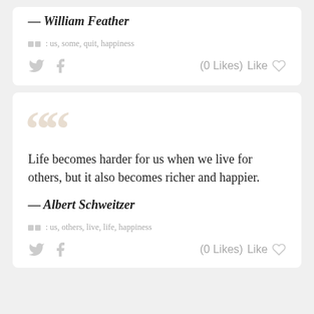— William Feather
tags: us, some, quit, happiness
(0 Likes)  Like
Life becomes harder for us when we live for others, but it also becomes richer and happier.
— Albert Schweitzer
tags: us, others, live, life, happiness
(0 Likes)  Like